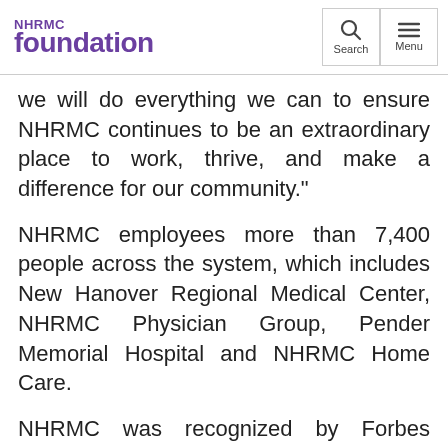NHRMC foundation
we will do everything we can to ensure NHRMC continues to be an extraordinary place to work, thrive, and make a difference for our community.”
NHRMC employees more than 7,400 people across the system, which includes New Hanover Regional Medical Center, NHRMC Physician Group, Pender Memorial Hospital and NHRMC Home Care.
NHRMC was recognized by Forbes Magazine as one of America’s Best Large Employers of 2019. NHRMC ranks 131 to across the nation…